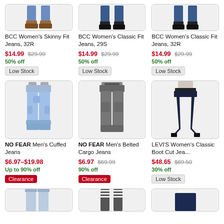[Figure (photo): BCC Women's Skinny Fit Jeans product image showing lower body with brown boots]
BCC Women's Skinny Fit Jeans, 32R
$14.99  $29.99
50% off
Low Stock
[Figure (photo): BCC Women's Classic Fit Jeans 29S product image showing lower body with black heels]
BCC Women's Classic Fit Jeans, 29S
$14.99  $29.99
50% off
Low Stock
[Figure (photo): BCC Women's Classic Fit Jeans 32R product image showing lower body with black heels]
BCC Women's Classic Fit Jeans, 32R
$14.99  $29.99
50% off
Low Stock
[Figure (photo): NO FEAR Men's Cuffed Jeans product image - light blue jeans full length]
NO FEAR Men's Cuffed Jeans
$6.97–$19.98
Up to 90% off
Clearance
[Figure (photo): NO FEAR Men's Belted Cargo Jeans product image - dark grey jeans full length]
NO FEAR Men's Belted Cargo Jeans
$6.97  $69.99
90% off
Clearance
[Figure (photo): LEVI'S Women's Classic Boot Cut Jeans product image - dark navy jeans with heels]
LEVI'S Women's Classic Boot Cut Jea...
$48.65  $69.50
30% off
Low Stock
[Figure (photo): Third row product 1 - partial image of jeans]
[Figure (photo): Third row product 2 - partial image of jeans]
[Figure (photo): Third row product 3 - partial image of jeans]